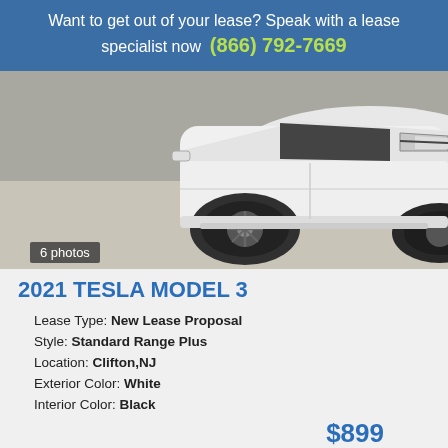Want to get out of your lease? Speak with a lease specialist now (866) 792-7669
[Figure (photo): White Tesla Model 3 front/side view close-up photo showing hood, headlights, wheel]
6 photos
2021 TESLA MODEL 3
Lease Type: New Lease Proposal
Style: Standard Range Plus
Location: Clifton,NJ
Exterior Color: White
Interior Color: Black
$899
Monthly Payment
6
Lease Term
[Figure (photo): Partial view of another vehicle listing at the bottom of the page]